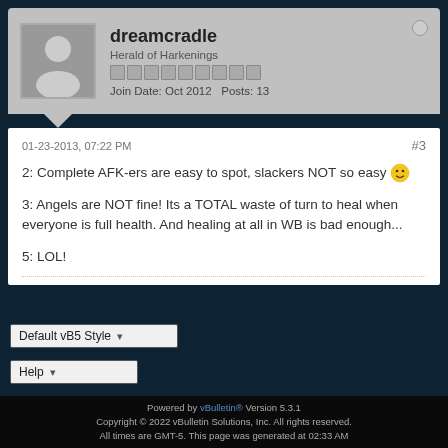dreamcradle
Herald of Harkenings
Join Date: Oct 2012   Posts: 13
01-23-2013, 07:22 PM
#3
2: Complete AFK-ers are easy to spot, slackers NOT so easy
3: Angels are NOT fine! Its a TOTAL waste of turn to heal when everyone is full health. And healing at all in WB is bad enough...
5: LOL!
Default vB5 Style
Help
Powered by vBulletin® Version 5.3.1
Copyright © 2022 vBulletin Solutions, Inc. All rights reserved.
All times are GMT-5. This page was generated at 02:33 AM.